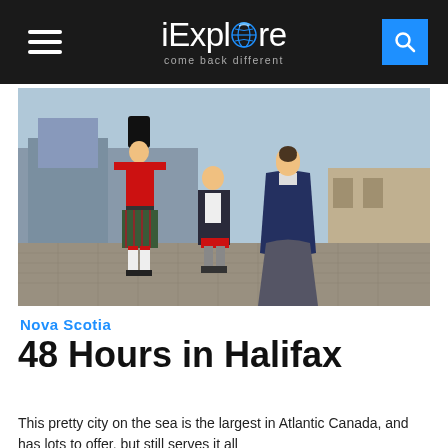iExplore — come back different
[Figure (photo): Historical costumed figures — a Scottish bagpiper in red uniform and tartan kilt, a child, and a woman in a long blue cape — standing on a cobblestone area with old stone buildings in the background.]
Nova Scotia
48 Hours in Halifax
This pretty city on the sea is the largest in Atlantic Canada, and has lots to offer, but still serves it all